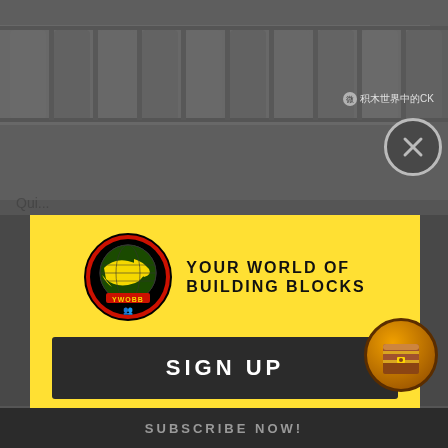[Figure (screenshot): Dark gray LEGO brick parts visible in the top background behind a yellow popup overlay]
积木世界中的CK
[Figure (logo): YWOBB logo: circular badge with globe and silhouettes, text 'YOUR WORLD OF BUILDING BLOCKS']
SIGN UP
GET OUR NEWSLETTER & SAVE!
ENTER YOUR EMAIL
SUBSCRIBE
[Figure (illustration): Treasure chest icon in orange circle]
SUBSCRIBE NOW!